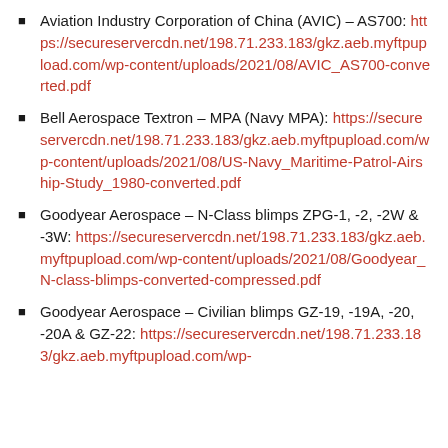Aviation Industry Corporation of China (AVIC) – AS700: https://secureservercdn.net/198.71.233.183/gkz.aeb.myftpupload.com/wp-content/uploads/2021/08/AVIC_AS700-converted.pdf
Bell Aerospace Textron – MPA (Navy MPA): https://secureservercdn.net/198.71.233.183/gkz.aeb.myftpupload.com/wp-content/uploads/2021/08/US-Navy_Maritime-Patrol-Airship-Study_1980-converted.pdf
Goodyear Aerospace – N-Class blimps ZPG-1, -2, -2W & -3W: https://secureservercdn.net/198.71.233.183/gkz.aeb.myftpupload.com/wp-content/uploads/2021/08/Goodyear_N-class-blimps-converted-compressed.pdf
Goodyear Aerospace – Civilian blimps GZ-19, -19A, -20, -20A & GZ-22: https://secureservercdn.net/198.71.233.183/gkz.aeb.myftpupload.com/wp-